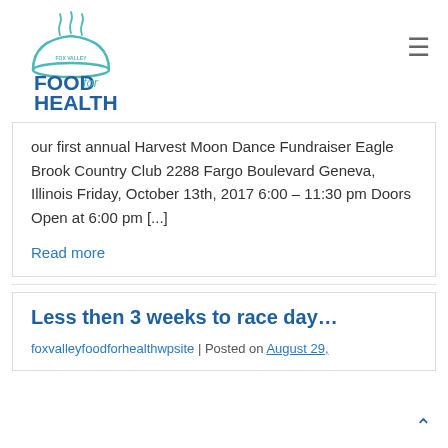[Figure (logo): Fox Valley Food for Health logo — a serving cloche/bell dish icon above text reading FOOD for HEALTH in blue and teal]
our first annual Harvest Moon Dance Fundraiser Eagle Brook Country Club 2288 Fargo Boulevard Geneva, Illinois Friday, October 13th, 2017 6:00 – 11:30 pm Doors Open at 6:00 pm [...]
Read more
Less then 3 weeks to race day…
foxvalleyfoodforhealthwpsite | Posted on August 29,